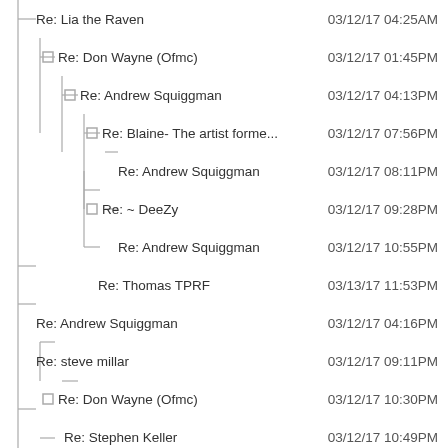Re: Lia the Raven
Re: Don Wayne (Ofmc)
Re: Andrew Squiggman
Re: Blaine- The artist forme...
Re: Andrew Squiggman
Re: ~ DeeZy
Re: Andrew Squiggman
Re: Thomas TPRF
Re: Andrew Squiggman
Re: steve millar
Re: Don Wayne (Ofmc)
Re: Stephen Keller
Re: Don Wayne (Ofmc)
Re: ~ DeeZy